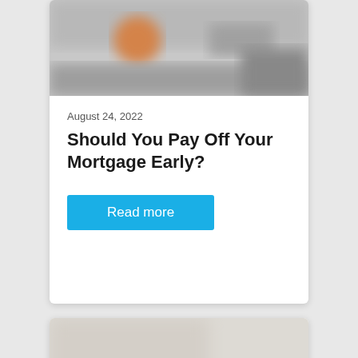[Figure (photo): Blurred photograph of a home interior/exterior scene, partially visible at top of card]
August 24, 2022
Should You Pay Off Your Mortgage Early?
Read more
[Figure (photo): Blurred photograph of a home/room interior scene, partially visible at bottom of page]